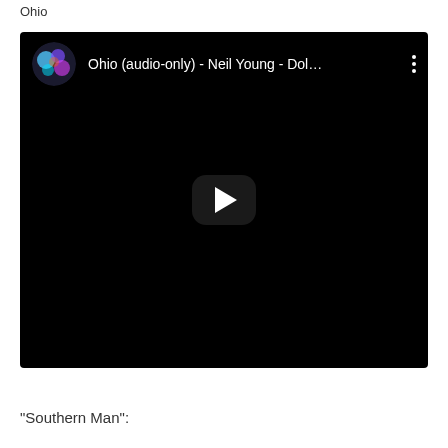Ohio
[Figure (screenshot): YouTube video embed showing 'Ohio (audio-only) - Neil Young - Dol...' with a black background, channel icon (blue/pink abstract art circle), video title, three-dot menu, and a play button in the center.]
“Southern Man”: